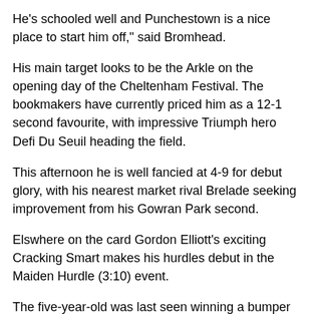He's schooled well and Punchestown is a nice place to start him off," said Bromhead.
His main target looks to be the Arkle on the opening day of the Cheltenham Festival. The bookmakers have currently priced him as a 12-1 second favourite, with impressive Triumph hero Defi Du Seuil heading the field.
This afternoon he is well fancied at 4-9 for debut glory, with his nearest market rival Brelade seeking improvement from his Gowran Park second.
Elswhere on the card Gordon Elliott's exciting Cracking Smart makes his hurdles debut in the Maiden Hurdle (3:10) event.
The five-year-old was last seen winning a bumper contest at Fairyhouse by 13 lengths, prior to that he finished a close second behind a smart stable rival.
He's always been the type to improve over hurdles, and even more so over fences, and expectations are high of a